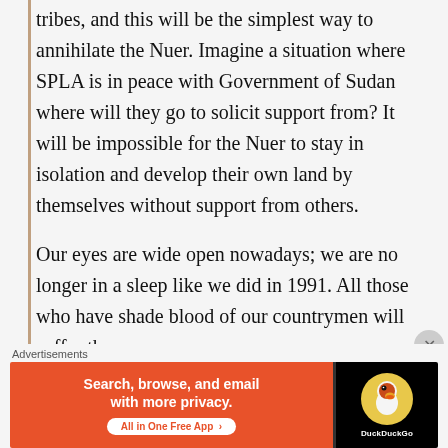tribes, and this will be the simplest way to annihilate the Nuer. Imagine a situation where SPLA is in peace with Government of Sudan where will they go to solicit support from? It will be impossible for the Nuer to stay in isolation and develop their own land by themselves without support from others.
Our eyes are wide open nowadays; we are no longer in a sleep like we did in 1991. All those who have shade blood of our countrymen will suffer the
Advertisements
[Figure (other): DuckDuckGo advertisement banner: orange section with text 'Search, browse, and email with more privacy. All in One Free App', black section with DuckDuckGo duck logo]